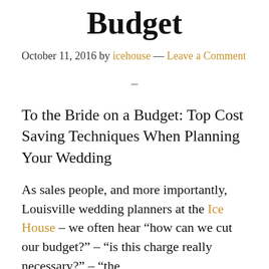Budget
October 11, 2016 by icehouse — Leave a Comment
–
To the Bride on a Budget: Top Cost Saving Techniques When Planning Your Wedding
As sales people, and more importantly, Louisville wedding planners at the Ice House – we often hear “how can we cut our budget?” – “is this charge really necessary?” – “the